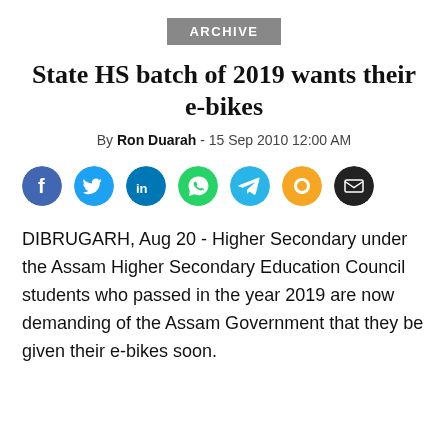ARCHIVE
State HS batch of 2019 wants their e-bikes
By Ron Duarah - 15 Sep 2010 12:00 AM
[Figure (infographic): Row of social media share icons: Facebook (blue), Twitter (cyan), LinkedIn (blue), WhatsApp (green), Telegram (blue), a yellow circle icon, and an email/envelope (dark grey) icon]
DIBRUGARH, Aug 20 - Higher Secondary under the Assam Higher Secondary Education Council students who passed in the year 2019 are now demanding of the Assam Government that they be given their e-bikes soon.